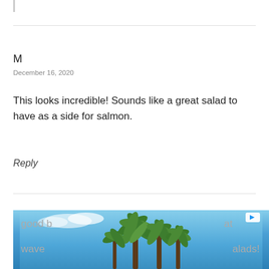M
December 16, 2020
This looks incredible! Sounds like a great salad to have as a side for salmon.
Reply
DEBBIE
June 27, 2021
I made this salad exactly as written last night and it was good b[...obscured by ad...]at wave[...obscured by ad...]alads!
[Figure (photo): Advertisement overlay showing palm trees against a blue sky with a play button icon in the top right corner]